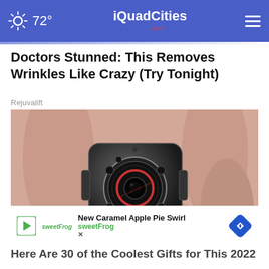72° | QuadCities.com
Doctors Stunned: This Removes Wrinkles Like Crazy (Try Tonight)
Rejuvalift
[Figure (photo): A small metallic spy/mini camera being held between fingers, showing a circular lens with red ring and black sensor dots on a dark chrome body]
[Figure (infographic): Advertisement banner for sweetFrog: New Caramel Apple Pie Swirl with sweetFrog logo and navigation icon]
Here Are 30 of the Coolest Gifts for This 2022